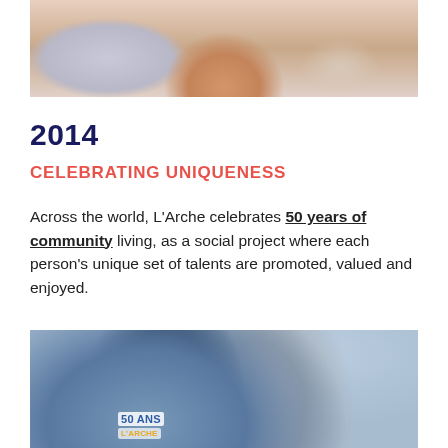[Figure (photo): Close-up photo of a smiling person, cropped at top of page]
2014
CELEBRATING UNIQUENESS
Across the world, L'Arche celebrates 50 years of community living, as a social project where each person's unique set of talents are promoted, valued and enjoyed.
[Figure (photo): Photo of two people with arms around each other, viewed from behind, at an outdoor event. One wears a white shirt reading '50 ANS' with L'Arche branding, the other wears a red cap and carries a blue backpack. A crowd is visible in the background.]